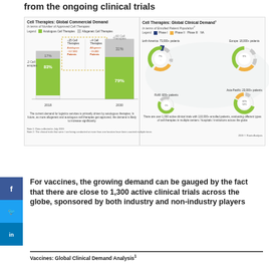from the ongoing clinical trials
[Figure (infographic): Two-panel infographic: Left panel shows Cell Therapies Global Commercial Demand in terms of Number of Approved Cell Therapies (bar chart comparing 2018 with 12 Cell Therapies at 83% autologous/17% allogeneic vs 2030 with ~60 Cell Therapies at 79% autologous/31% allogeneic). Right panel shows Cell Therapies Global Clinical Demand in terms of Enrolled Patient Population with donut charts for North America (73,000+ patients), Europe (18,000+ patients), RoW (600+ patients), Asia-Pacific (23,000+ patients).]
For vaccines, the growing demand can be gauged by the fact that there are close to 1,300 active clinical trials across the globe, sponsored by both industry and non-industry players
Vaccines: Global Clinical Demand Analysis¹